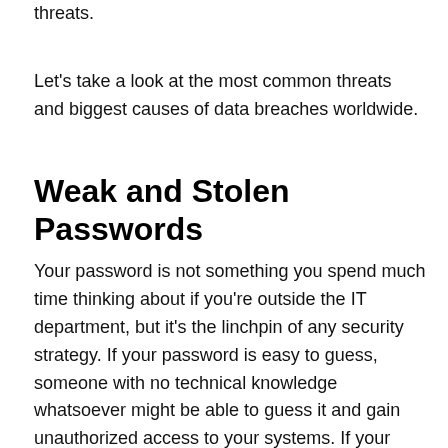threats.
Let's take a look at the most common threats and biggest causes of data breaches worldwide.
Weak and Stolen Passwords
Your password is not something you spend much time thinking about if you're outside the IT department, but it's the linchpin of any security strategy. If your password is easy to guess, someone with no technical knowledge whatsoever might be able to guess it and gain unauthorized access to your systems. If your password is short or if it contains easily identifiable patterns (like "1234"), a simple algorithm